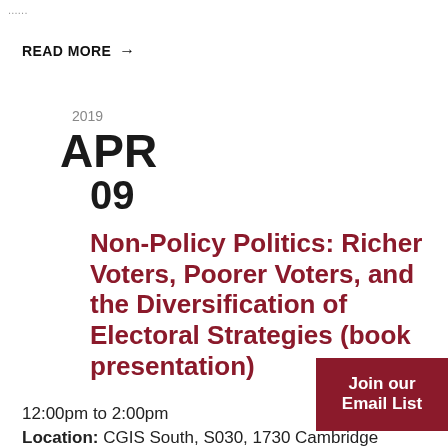...
READ MORE →
2019
APR
09
Non-Policy Politics: Richer Voters, Poorer Voters, and the Diversification of Electoral Strategies (book presentation)
Join our Email List
12:00pm to 2:00pm
Location: CGIS South, S030, 1730 Cambridge